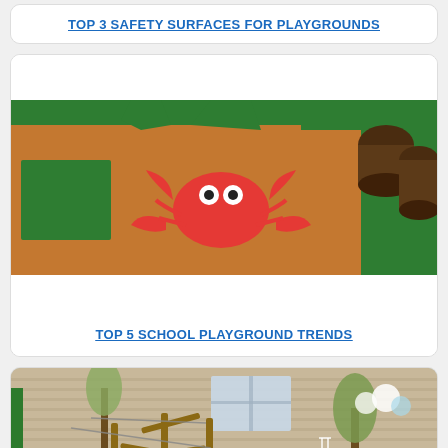TOP 3 SAFETY SURFACES FOR PLAYGROUNDS
[Figure (photo): Close-up of rubber playground safety surface with orange/brown granular texture, green geometric shapes, a red crab design in the center, and wooden log stumps in the background on a green border area]
TOP 5 SCHOOL PLAYGROUND TRENDS
[Figure (photo): Outdoor school playground with purple rubber surface, wooden climbing frame structures, colorful cylindrical posts, a tree, and a brick building wall in the background with decorative animals painted on the wall]